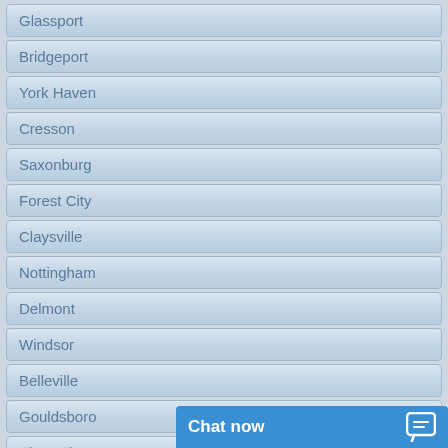Glassport
Bridgeport
York Haven
Cresson
Saxonburg
Forest City
Claysville
Nottingham
Delmont
Windsor
Belleville
Gouldsboro
Shrewsbury
[Figure (screenshot): Chat now button with speech bubble icon]